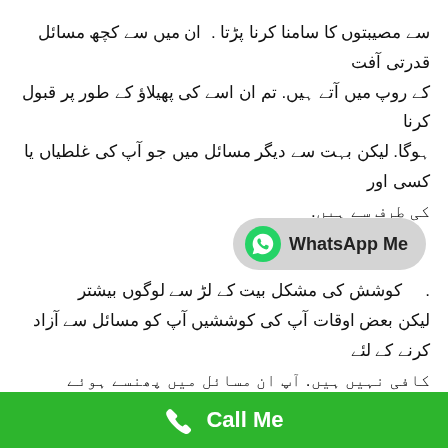سے مصیبتوں کا سامنا کرنا پڑتا . ان میں سے کچھ مسائل قدرتی آفت کے روپ میں آتے ہیں. تم ان اسے کی پھیلاؤ کے طور پر قبول کرنا ہوگا. لیکن بہت سے دیگر مسائل میں جو آپ کی غلطیاں یا کسی اور کی طرف سے ہیں.
[Figure (other): WhatsApp Me button with green WhatsApp logo on grey pill-shaped background]
بیشتر لوگوں کے لئے زندگی کی مشکل کوشش. لیکن بعض اوقات آپ کی کوششیں آپ کو مسائل سے آزاد کرنے کے لئے کافی نہیں ہیں. آپ ان مسائل میں پھنسے ہوئے محسوس کرتے ہیں. عدالت کے مقدمات کا معاملہ بھی ایسا ہی. اگر چیزیں آپ کے حق میں تو آپ کو عدالت کو کیس جیتنے کے لئے بازی کی مدد کرنا چاہئے.
[Figure (other): Call Me button with white phone icon on green background bar at bottom]